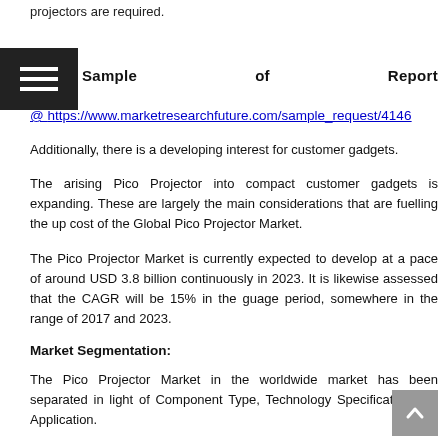projectors are required.
Sample   of   Report
@ https://www.marketresearchfuture.com/sample_request/4146
Additionally, there is a developing interest for customer gadgets.
The arising Pico Projector into compact customer gadgets is expanding. These are largely the main considerations that are fuelling the up cost of the Global Pico Projector Market.
The Pico Projector Market is currently expected to develop at a pace of around USD 3.8 billion continuously in 2023. It is likewise assessed that the CAGR will be 15% in the guage period, somewhere in the range of 2017 and 2023.
Market Segmentation:
The Pico Projector Market in the worldwide market has been separated in light of Component Type, Technology Specification and Application.
Based on The Type
The Pico Projector Market in the worldwide market has been isolated